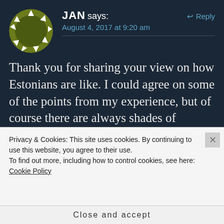[Figure (illustration): Circular avatar with olive/dark green background and white geometric star/triangle pattern around the border]
JAN says:
Reply
August 4, 2017 at 9:20 am
Thank you for sharing your view on how Estonians are like. I could agree on some of the points from my experience, but of course there are always shades of colours between people. It is not even possible to make a straight line between people from different
Privacy & Cookies: This site uses cookies. By continuing to use this website, you agree to their use.
To find out more, including how to control cookies, see here:
Cookie Policy
Close and accept